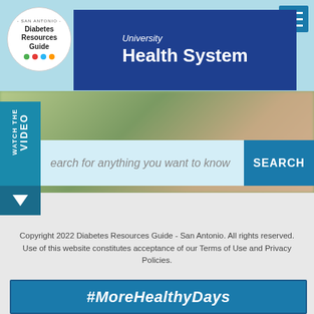[Figure (screenshot): San Antonio Diabetes Resources Guide logo — circular white badge with colored dots and text]
[Figure (screenshot): University Health System banner with dark blue background and white bold text]
[Figure (screenshot): Blurred outdoor background photo strip with a person]
[Figure (screenshot): Watch the Video vertical tab in teal blue on the left side]
[Figure (screenshot): Search bar with placeholder 'search for anything you want to know' and SEARCH button]
Copyright 2022 Diabetes Resources Guide - San Antonio. All rights reserved. Use of this website constitutes acceptance of our Terms of Use and Privacy Policies.
#MoreHealthyDays